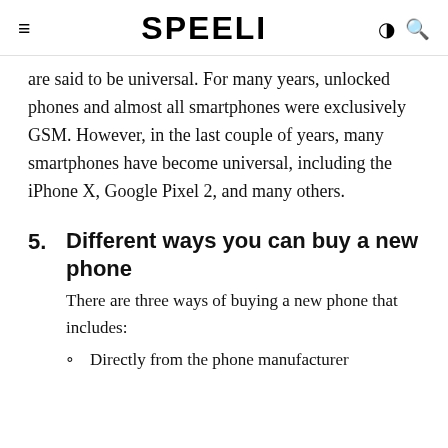SPEELI
are said to be universal. For many years, unlocked phones and almost all smartphones were exclusively GSM. However, in the last couple of years, many smartphones have become universal, including the iPhone X, Google Pixel 2, and many others.
5. Different ways you can buy a new phone
There are three ways of buying a new phone that includes:
Directly from the phone manufacturer